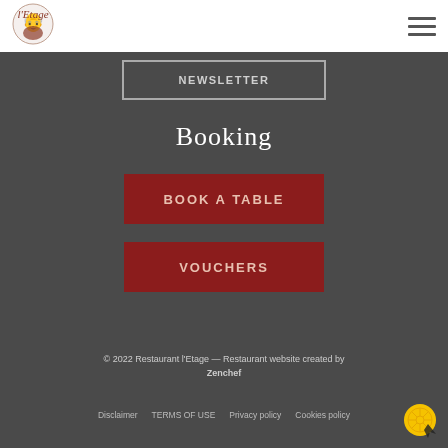[Figure (logo): Restaurant l'Etage logo — chef character illustration in dark red/brown]
[Figure (other): Hamburger menu icon (three horizontal lines)]
NEWSLETTER
Booking
BOOK A TABLE
VOUCHERS
© 2022 Restaurant l'Etage — Restaurant website created by Zenchef
Disclaimer   TERMS OF USE   Privacy policy   Cookies policy